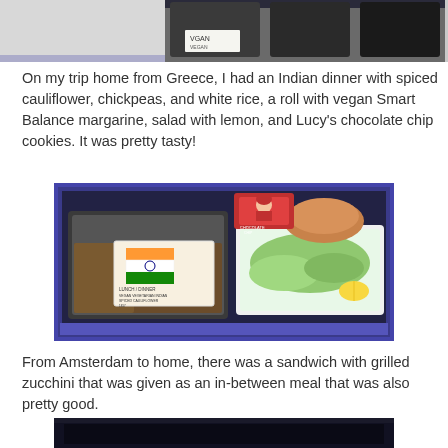[Figure (photo): Partial top view of an airplane meal tray with a label reading 'VGAN']
On my trip home from Greece, I had an Indian dinner with spiced cauliflower, chickpeas, and white rice, a roll with vegan Smart Balance margarine, salad with lemon, and Lucy's chocolate chip cookies. It was pretty tasty!
[Figure (photo): Airplane meal tray with Indian vegetarian dinner: spiced cauliflower and chickpeas with rice in a foil tray with a meal label showing an Indian flag design, a side salad with lemon, a roll, and a package of Lucy's chocolate chip cookies]
From Amsterdam to home, there was a sandwich with grilled zucchini that was given as an in-between meal that was also pretty good.
[Figure (photo): Partial bottom view of another airplane meal, mostly dark/black]